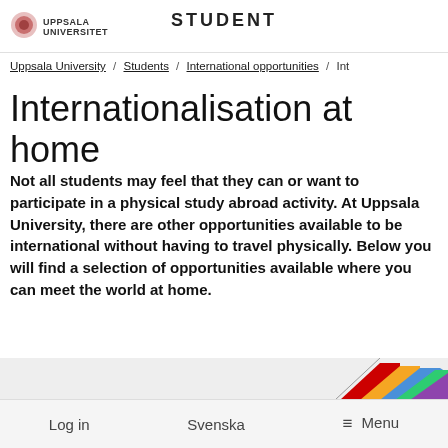STUDENT | Uppsala Universitet
Uppsala University / Students / International opportunities / Int
Internationalisation at home
Not all students may feel that they can or want to participate in a physical study abroad activity. At Uppsala University, there are other opportunities available to be international without having to travel physically. Below you will find a selection of opportunities available where you can meet the world at home.
[Figure (photo): Partial image of colorful international flags at the bottom of the page]
Log in  Svenska  Menu